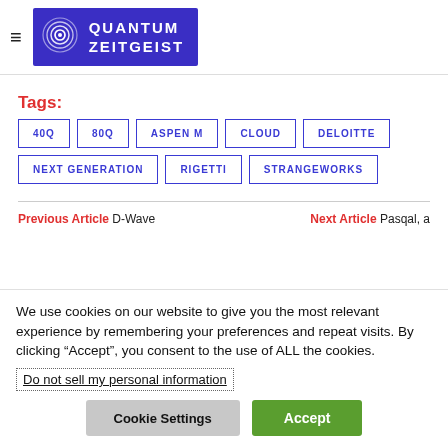QUANTUM ZEITGEIST
Tags:
40Q
80Q
ASPEN M
CLOUD
DELOITTE
NEXT GENERATION
RIGETTI
STRANGEWORKS
Previous Article D-Wave
Next Article Pasqal, a
We use cookies on our website to give you the most relevant experience by remembering your preferences and repeat visits. By clicking “Accept”, you consent to the use of ALL the cookies.
Do not sell my personal information
Cookie Settings
Accept